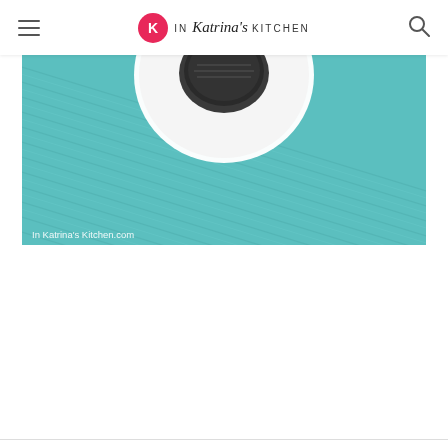In Katrina's Kitchen
[Figure (photo): Food photo showing a white plate/bowl on a teal/turquoise woven rope or linen textured surface, shot from above. The plate has a dark cookie or food item. Watermark reads 'In Katrina's Kitchen.com' in white text at bottom left.]